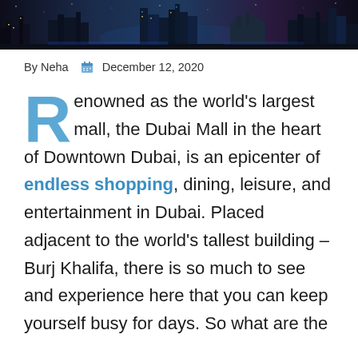[Figure (photo): Panoramic night cityscape banner showing a glowing urban skyline with buildings and lights against a dark sky]
By Neha  December 12, 2020
Renowned as the world's largest mall, the Dubai Mall in the heart of Downtown Dubai, is an epicenter of endless shopping, dining, leisure, and entertainment in Dubai. Placed adjacent to the world's tallest building – Burj Khalifa, there is so much to see and experience here that you can keep yourself busy for days. So what are the